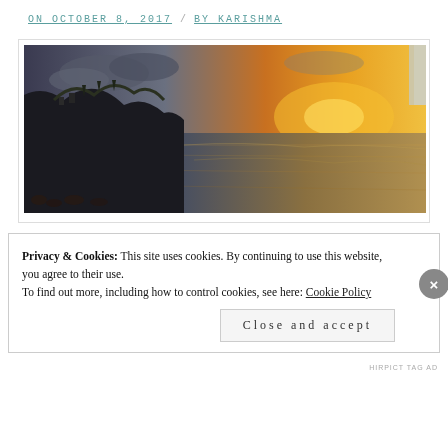ON OCTOBER 8, 2017  /  BY KARISHMA
[Figure (photo): Panoramic sunset view over the ocean with cliffs and silhouettes of people and greenery on the left, golden orange sky on the right]
Privacy & Cookies: This site uses cookies. By continuing to use this website, you agree to their use.
To find out more, including how to control cookies, see here: Cookie Policy
Close and accept